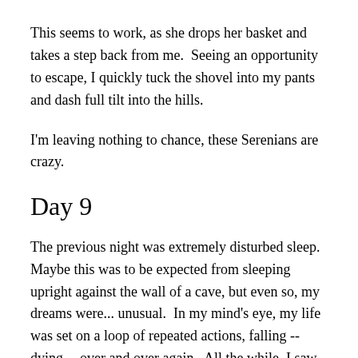This seems to work, as she drops her basket and takes a step back from me.  Seeing an opportunity to escape, I quickly tuck the shovel into my pants and dash full tilt into the hills.
I'm leaving nothing to chance, these Serenians are crazy.
Day 9
The previous night was extremely disturbed sleep.  Maybe this was to be expected from sleeping upright against the wall of a cave, but even so, my dreams were... unusual.  In my mind's eye, my life was set on a loop of repeated actions, falling -- dying -- over and over again.  All the while, I saw the landscapes of Serenia flowing in and out of the images like spirits, as if the fabric of the place was somehow intermixed with its occupants.  At one point, I had visions of being stranded outside of a